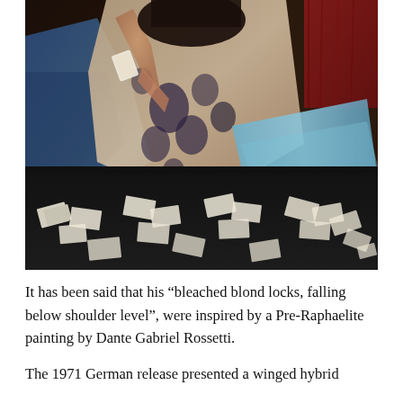[Figure (photo): A colorized vintage photograph of a woman in an ornate floral-patterned robe reclining on a dark surface, surrounded by scattered playing cards on a dark floor. The background shows dark wood paneling and a red curtain to the upper right.]
It has been said that his “bleached blond locks, falling below shoulder level”, were inspired by a Pre-Raphaelite painting by Dante Gabriel Rossetti.
The 1971 German release presented a winged hybrid